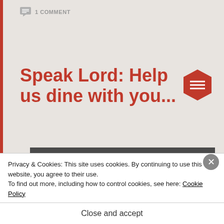1 COMMENT
Speak Lord: Help us dine with you...
[Figure (photo): Photograph of what appears to be stone or ceramic bread rolls/buns on a marble or stone surface, viewed from above at an angle.]
Privacy & Cookies: This site uses cookies. By continuing to use this website, you agree to their use.
To find out more, including how to control cookies, see here: Cookie Policy
Close and accept